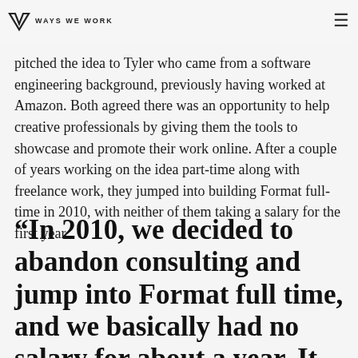WAYS WE WORK
pitched the idea to Tyler who came from a software engineering background, previously having worked at Amazon. Both agreed there was an opportunity to help creative professionals by giving them the tools to showcase and promote their work online. After a couple of years working on the idea part-time along with freelance work, they jumped into building Format full-time in 2010, with neither of them taking a salary for the first year.
“In 2010, we decided to abandon consulting and jump into Format full time, and we basically had no salary for about a year. It was risky